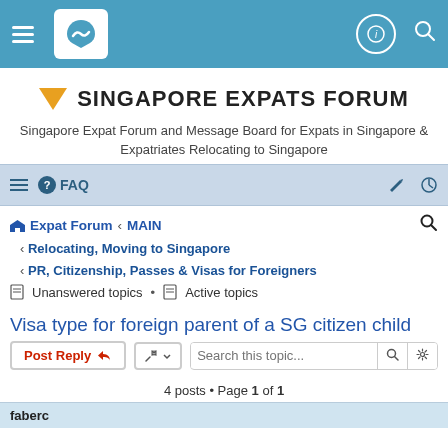[Figure (screenshot): Top navigation bar with hamburger menu, site logo, profile icon and search icon on blue background]
SINGAPORE EXPATS FORUM
Singapore Expat Forum and Message Board for Expats in Singapore & Expatriates Relocating to Singapore
FAQ navigation bar with hamburger, FAQ link, edit and power icons
Expat Forum ‹ MAIN
‹ Relocating, Moving to Singapore
‹ PR, Citizenship, Passes & Visas for Foreigners
Unanswered topics • Active topics
Visa type for foreign parent of a SG citizen child
4 posts • Page 1 of 1
faberc